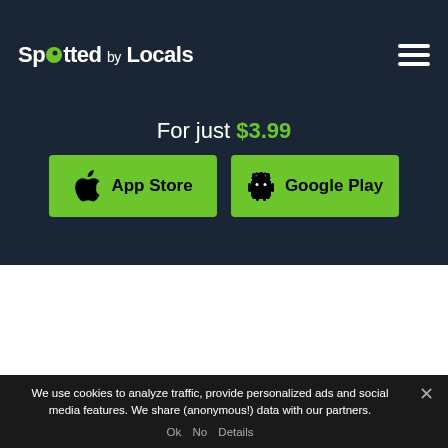Spotted by Locals
For just $3.99
[Figure (other): App Store button (green) with Apple logo icon]
[Figure (other): Google Play button (green) with Android robot icon]
We use cookies to analyze traffic, provide personalized ads and social media features. We share (anonymous!) data with our partners.
Ok  No  Details